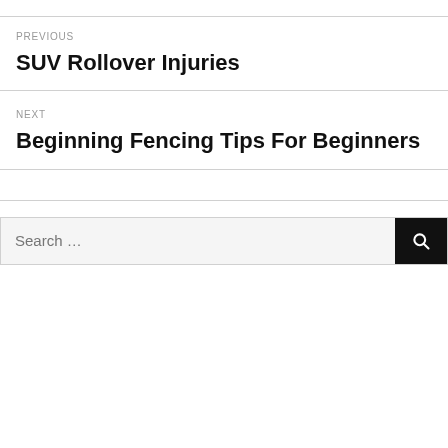PREVIOUS
SUV Rollover Injuries
NEXT
Beginning Fencing Tips For Beginners
Search …